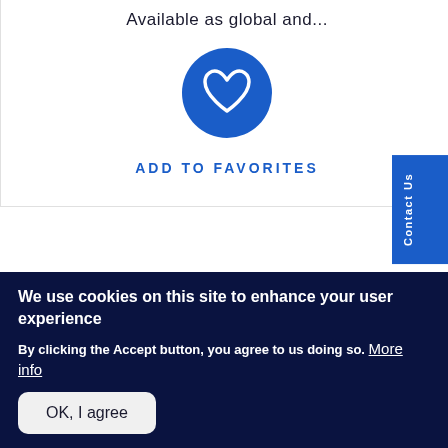Available as global and...
[Figure (illustration): Blue circle with a white heart outline icon in the center]
ADD TO FAVORITES
Contact Us
1  2  »  Last »
We use cookies on this site to enhance your user experience
By clicking the Accept button, you agree to us doing so. More info
OK, I agree